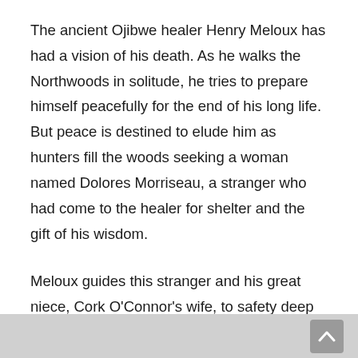The ancient Ojibwe healer Henry Meloux has had a vision of his death. As he walks the Northwoods in solitude, he tries to prepare himself peacefully for the end of his long life. But peace is destined to elude him as hunters fill the woods seeking a woman named Dolores Morriseau, a stranger who had come to the healer for shelter and the gift of his wisdom.
Meloux guides this stranger and his great niece, Cork O'Connor's wife, to safety deep into the Boundary Waters, his home for more than a century. On the last journey he may ever take into